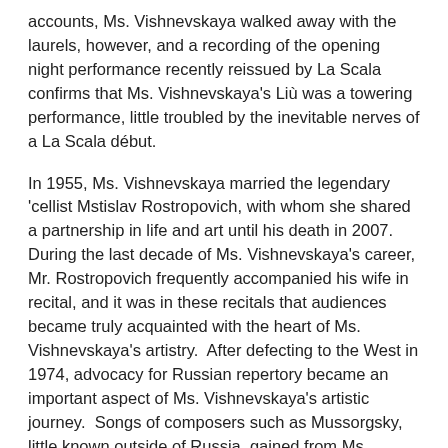accounts, Ms. Vishnevskaya walked away with the laurels, however, and a recording of the opening night performance recently reissued by La Scala confirms that Ms. Vishnevskaya's Liù was a towering performance, little troubled by the inevitable nerves of a La Scala début.
In 1955, Ms. Vishnevskaya married the legendary 'cellist Mstislav Rostropovich, with whom she shared a partnership in life and art until his death in 2007.  During the last decade of Ms. Vishnevskaya's career, Mr. Rostropovich frequently accompanied his wife in recital, and it was in these recitals that audiences became truly acquainted with the heart of Ms. Vishnevskaya's artistry.  After defecting to the West in 1974, advocacy for Russian repertory became an important aspect of Ms. Vishnevskaya's artistic journey.  Songs of composers such as Mussorgsky, little known outside of Russia, gained from Ms. Vishnevskaya's espousal the admiration of Western audiences and critics.  Even when musical values were not as uncompromising as they had been earlier in her career, the connection and sense of complete collaboration inherent in Ms. Vishnevskaya's recitals with her husband in the last few seasons of her performing career remained astounding